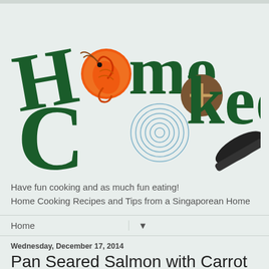[Figure (logo): Home Cooked blog logo with dark green stylized text, orange shrimp illustration replacing the 'o' in Home, blue spiral replacing the 'o' in Cooked, brown circle with plus sign, and a black frying pan]
Have fun cooking and as much fun eating!
Home Cooking Recipes and Tips from a Singaporean Home
Home ▼
Wednesday, December 17, 2014
Pan Seared Salmon with Carrot mash